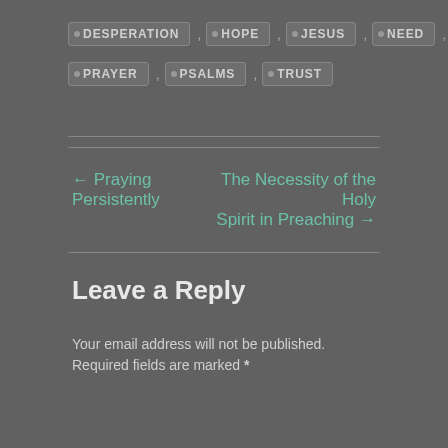DESPERATION, HOPE, JESUS, NEED,
PRAYER, PSALMS, TRUST
← Praying Persistently
The Necessity of the Holy Spirit in Preaching →
Leave a Reply
Your email address will not be published. Required fields are marked *